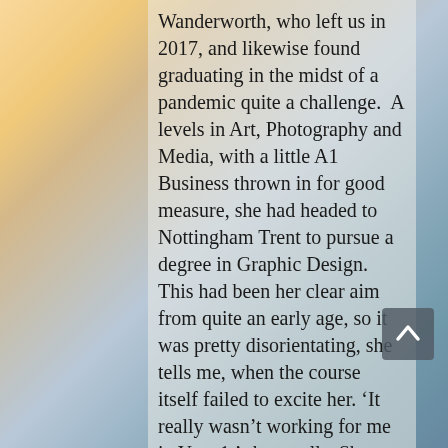Wanderworth, who left us in 2017, and likewise found graduating in the midst of a pandemic quite a challenge.  A levels in Art, Photography and Media, with a little A1 Business thrown in for good measure, she had headed to Nottingham Trent to pursue a degree in Graphic Design.  This had been her clear aim from quite an early age, so it was pretty disorientating, she tells me, when the course itself failed to excite her. ‘It really wasn’t working for me in Year 1,’ she recalls. She was really struggling, questioning why that which she had so desired, and the other students so enjoyed, was leaving her largely cold. A moment